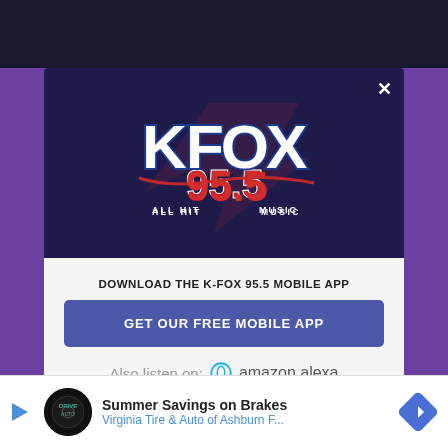[Figure (screenshot): KFOX 95.5 All Hit Music radio station logo on dark navy background inside a modal popup]
DOWNLOAD THE K-FOX 95.5 MOBILE APP
GET OUR FREE MOBILE APP
Also listen on:  amazon alexa
[Figure (screenshot): Advertisement bar: Summer Savings on Brakes - Virginia Tire & Auto of Ashburn F...]